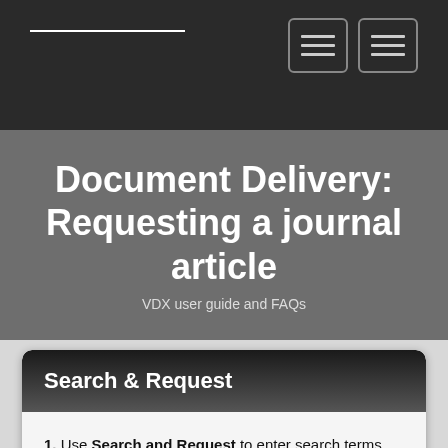Document Delivery: Requesting a journal article
VDX user guide and FAQs
Search & Request
1. Use Search and Request to enter search terms.
Note: ISSN searches are often more effective than Title